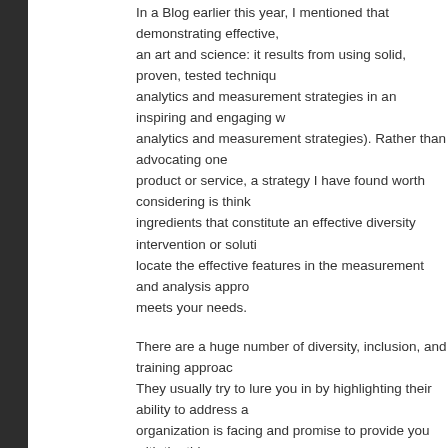In a Blog earlier this year, I mentioned that demonstrating effective, an art and science: it results from using solid, proven, tested techniques analytics and measurement strategies in an inspiring and engaging w analytics and measurement strategies). Rather than advocating one product or service, a strategy I have found worth considering is think ingredients that constitute an effective diversity intervention or soluti locate the effective features in the measurement and analysis appro meets your needs.
There are a huge number of diversity, inclusion, and training approac They usually try to lure you in by highlighting their ability to address organization is facing and promise to provide you with the things you organizational goals. As a diversity professional, the real trick is findi that work and work consistently to drive sustainability. If you want to that delivers a measurable ROI or a measurable non-financial impac decision framework that is effective and drives results. The proposed able to connect to the roots of your organization's DNA. This should
Building a Recipe for Accountability and Success
To do this successfully, it is important to have as much detail as poss requirements of a diversity intervention. Many projects run into difficu differences in expected outcomes because the requirements are not